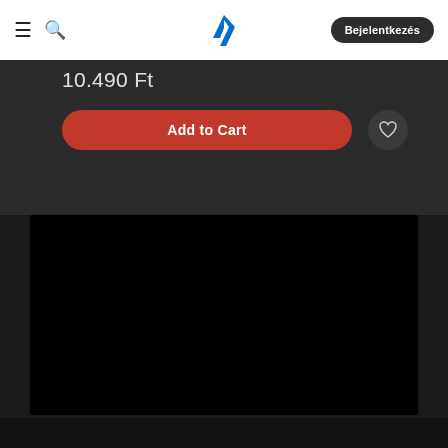Bejelentkezés
10.490 Ft
Add to Cart
[Figure (screenshot): Black video player area]